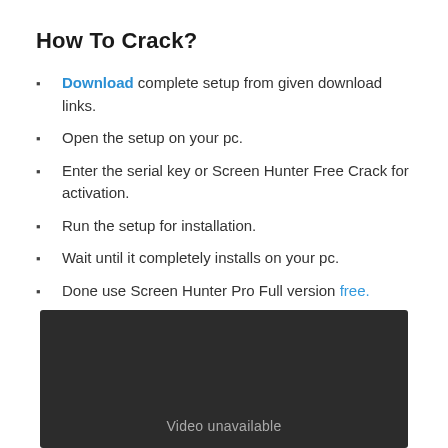How To Crack?
Download complete setup from given download links.
Open the setup on your pc.
Enter the serial key or Screen Hunter Free Crack for activation.
Run the setup for installation.
Wait until it completely installs on your pc.
Done use Screen Hunter Pro Full version free.
[Figure (other): Dark video player box showing 'Video unavailable' message]